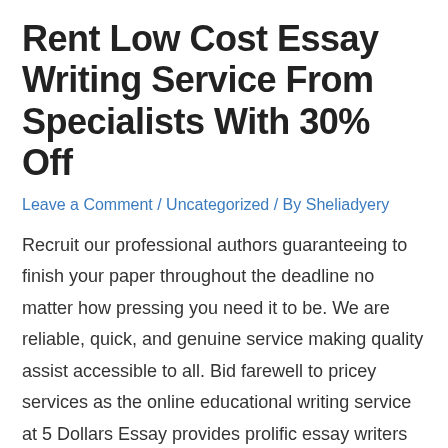Rent Low Cost Essay Writing Service From Specialists With 30% Off
Leave a Comment / Uncategorized / By Sheliadyery
Recruit our professional authors guaranteeing to finish your paper throughout the deadline no matter how pressing you need it to be. We are reliable, quick, and genuine service making quality assist accessible to all. Bid farewell to pricey services as the online educational writing service at 5 Dollars Essay provides prolific essay writers at highly …
Read More »
Essay Matter Suggestions
Leave a Comment / Uncategorized / By Sheliadyery